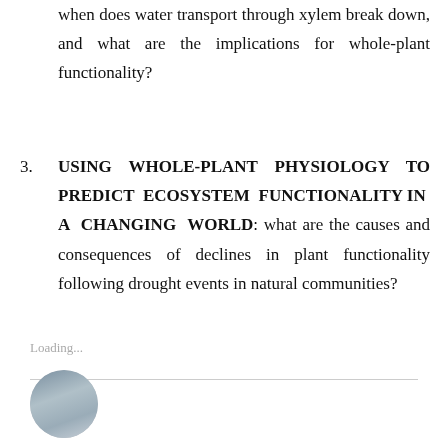when does water transport through xylem break down, and what are the implications for whole-plant functionality?
USING WHOLE-PLANT PHYSIOLOGY TO PREDICT ECOSYSTEM FUNCTIONALITY IN A CHANGING WORLD: what are the causes and consequences of declines in plant functionality following drought events in natural communities?
Loading...
[Figure (photo): Circular avatar photo of a person in outdoor/hiking setting with natural landscape background]